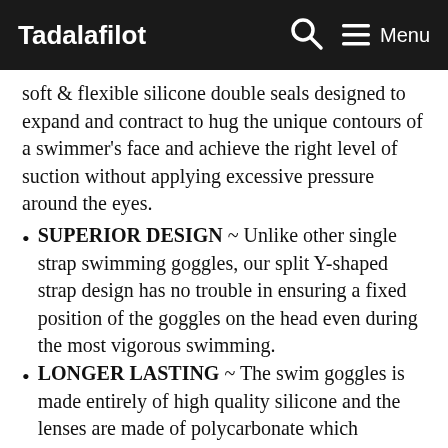Tadalafilot | Menu
soft & flexible silicone double seals designed to expand and contract to hug the unique contours of a swimmer's face and achieve the right level of suction without applying excessive pressure around the eyes.
SUPERIOR DESIGN ~ Unlike other single strap swimming goggles, our split Y-shaped strap design has no trouble in ensuring a fixed position of the goggles on the head even during the most vigorous swimming.
LONGER LASTING ~ The swim goggles is made entirely of high quality silicone and the lenses are made of polycarbonate which guarantees excellent impact resistance.
HIGHER VALUE ~ AqtivAqua swimming